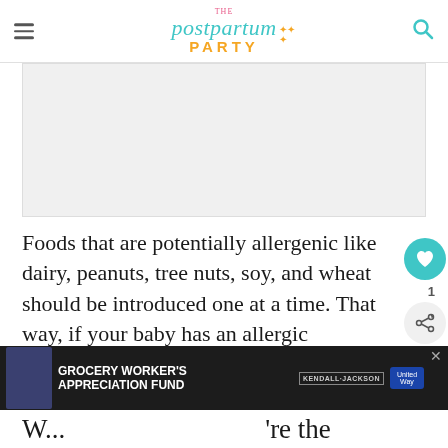The Postpartum Party
[Figure (other): Advertisement placeholder banner]
Foods that are potentially allergenic like dairy, peanuts, tree nuts, soy, and wheat should be introduced one at a time. That way, if your baby has an allergic reaction, you'll know exactly what the culprit is.
[Figure (infographic): WHAT'S NEXT arrow label with thumbnail and text: 10 Easy First Foods for...]
[Figure (infographic): Bottom advertisement banner: GROCERY WORKER'S APPRECIATION FUND with Kendall Jackson and United Way logos]
W... 're the